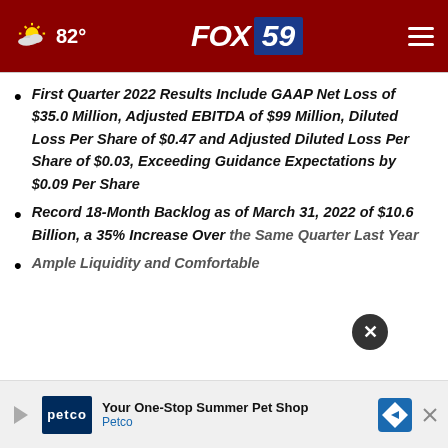FOX 59 | 82°
First Quarter 2022 Results Include GAAP Net Loss of $35.0 Million, Adjusted EBITDA of $99 Million, Diluted Loss Per Share of $0.47 and Adjusted Diluted Loss Per Share of $0.03, Exceeding Guidance Expectations by $0.09 Per Share
Record 18-Month Backlog as of March 31, 2022 of $10.6 Billion, a 35% Increase Over the Same Quarter Last Year
Ample Liquidity and Comfortable
[Figure (screenshot): Petco advertisement banner: 'Your One-Stop Summer Pet Shop — Petco' with Petco logo and directions icon]